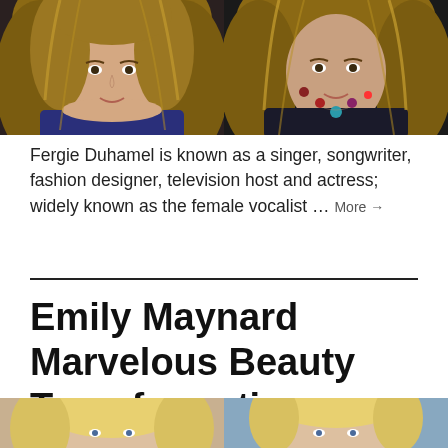[Figure (photo): Two side-by-side photos of Fergie Duhamel — left showing her in a navy top with wavy blonde/brown hair, right showing her in a dark outfit with a colorful beaded necklace and wavy hair]
Fergie Duhamel is known as a singer, songwriter, fashion designer, television host and actress; widely known as the female vocalist … More →
Emily Maynard Marvelous Beauty Transformation
[Figure (photo): Two side-by-side photos of Emily Maynard showing a beauty transformation — both featuring a blonde woman, left with longer hair, right with shorter hair against a blue background]